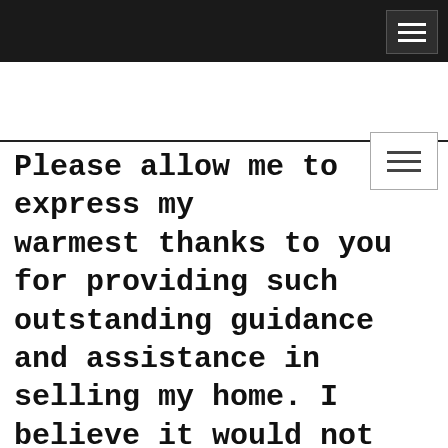Please allow me to express my warmest thanks to you for providing such outstanding guidance and assistance in selling my home. I believe it would not have been such a success without your diligence and expertise. You have been so good at communicating with everyone involved about the